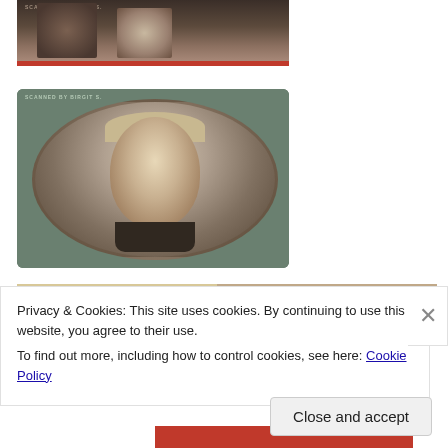[Figure (photo): Partial view of two people shaking hands or holding hands, black and white vintage photo with red bar at bottom and watermark 'SCANNED BY BIRGIT S.']
[Figure (photo): Portrait of a man in vintage style, oval-framed black and white photo with teal/green background, watermark 'SCANNED BY BIRGIT S.']
[Figure (photo): Partial bottom strip showing two vintage photos side by side with watermarks 'SCANNED BY MONIQUE CLASSIQUE' and another partially visible]
Privacy & Cookies: This site uses cookies. By continuing to use this website, you agree to their use.
To find out more, including how to control cookies, see here: Cookie Policy
Close and accept